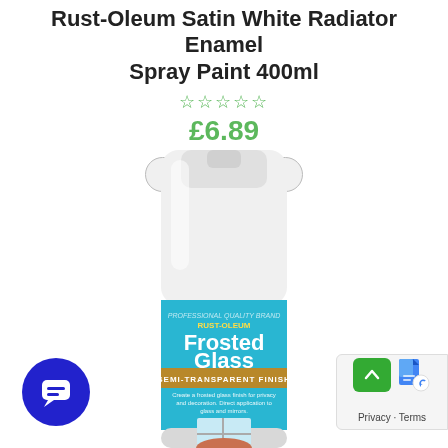Rust-Oleum Satin White Radiator Enamel Spray Paint 400ml
☆☆☆☆☆
£6.89
Add to basket
[Figure (photo): A spray can with a blue label reading 'Frosted Glass - Semi-Transparent Finish' with product description text and an image of a frosted glass window on the label. The can has a white cap and white body above the blue label.]